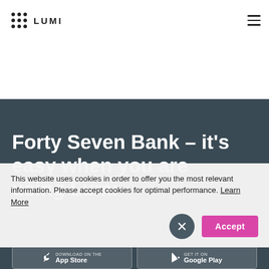LUMI
Forty Seven Bank – it's easy when you are using Lumi
[Figure (screenshot): App store download buttons: Download on the App Store and GET IT ON Google Play]
This website uses cookies in order to offer you the most relevant information. Please accept cookies for optimal performance. Learn More
Accept